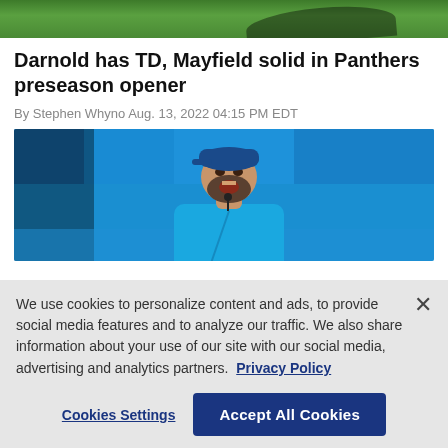[Figure (photo): Top cropped sports field photo showing grass and shadow]
Darnold has TD, Mayfield solid in Panthers preseason opener
By Stephen Whyno Aug. 13, 2022 04:15 PM EDT
[Figure (photo): Photo of Panthers coach in blue shirt and cap, shouting on the sideline with crowd in background]
We use cookies to personalize content and ads, to provide social media features and to analyze our traffic. We also share information about your use of our site with our social media, advertising and analytics partners.  Privacy Policy
Cookies Settings   Accept All Cookies